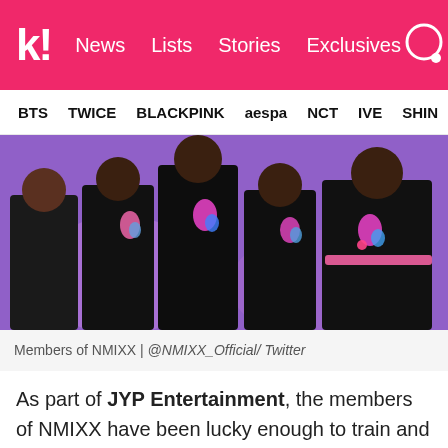k! News Lists Stories Exclusives
BTS TWICE BLACKPINK aespa NCT IVE SHINE
[Figure (photo): Members of NMIXX posing in black outfits with colorful accessories against a purple background]
Members of NMIXX | @NMIXX_Official/ Twitter
As part of JYP Entertainment, the members of NMIXX have been lucky enough to train and interact alongside some of the biggest groups in K-Pop. Considering their age and trainee periods, the group has a particularly close friendship with the members of ITZY